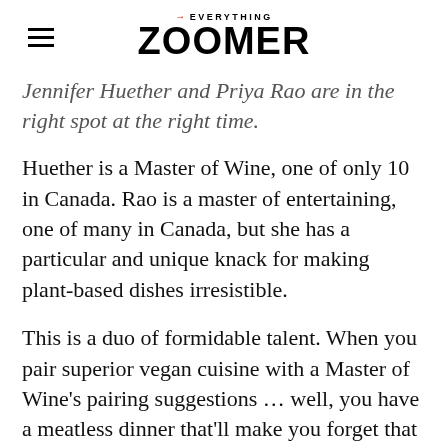→EVERYTHING ZOOMER
Jennifer Huether and Priya Rao are in the right spot at the right time.
Huether is a Master of Wine, one of only 10 in Canada. Rao is a master of entertaining, one of many in Canada, but she has a particular and unique knack for making plant-based dishes irresistible.
This is a duo of formidable talent. When you pair superior vegan cuisine with a Master of Wine's pairing suggestions … well, you have a meatless dinner that'll make you forget that it's meatless.